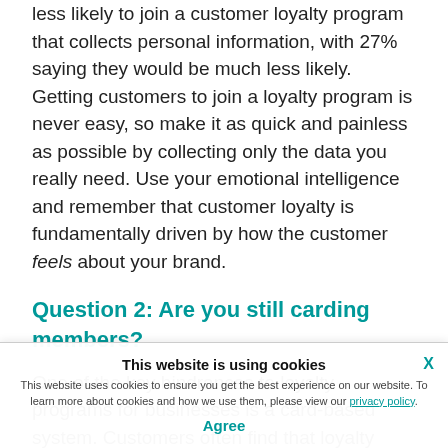less likely to join a customer loyalty program that collects personal information, with 27% saying they would be much less likely. Getting customers to join a loyalty program is never easy, so make it as quick and painless as possible by collecting only the data you really need. Use your emotional intelligence and remember that customer loyalty is fundamentally driven by how the customer feels about your brand.
Question 2: Are you still carding members?
One of the key hindrances to loyalty programs for businesses is a card-based system. Customers often find that loyalty cards don't want to carry them and so they are often forgotten. Customers are the ones often